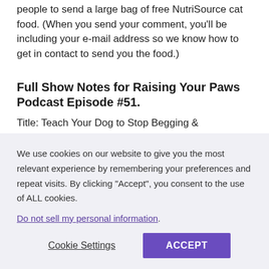people to send a large bag of free NutriSource cat food. (When you send your comment, you'll be including your e-mail address so we know how to get in contact to send you the food.)
Full Show Notes for Raising Your Paws Podcast Episode #51.
Title: Teach Your Dog to Stop Begging &
We use cookies on our website to give you the most relevant experience by remembering your preferences and repeat visits. By clicking "Accept", you consent to the use of ALL cookies.
Do not sell my personal information.
Cookie Settings
ACCEPT